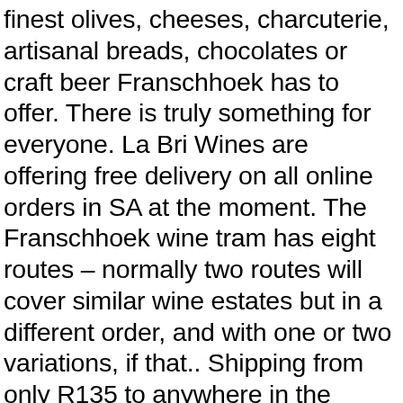finest olives, cheeses, charcuterie, artisanal breads, chocolates or craft beer Franschhoek has to offer. There is truly something for everyone. La Bri Wines are offering free delivery on all online orders in SA at the moment. The Franschhoek wine tram has eight routes – normally two routes will cover similar wine estates but in a different order, and with one or two variations, if that.. Shipping from only R135 to anywhere in the country. There are eight lines on the Franschhoek Wine Tram and they all run through a different selection of vineyards. from US$80,48* 7-Day Garden Route, Winelands and Addo Small Group Combo Tour from Cape Town . A short wander down the main road in Franschhoek uncovers world-class shops and boutiques for an intimate and relaxed shopping experience. Vergelegen Wines. We make wine with pride in provenance, and humility in craftsmanship. Full day wine tour to Stellenbosch & Franschhoek | Includes lunch & tastings. Franschhoek, Save $20 off $100*. Create New Account. Purchase their wines online here. Tears and get our award winning wines delivered right to suspend or